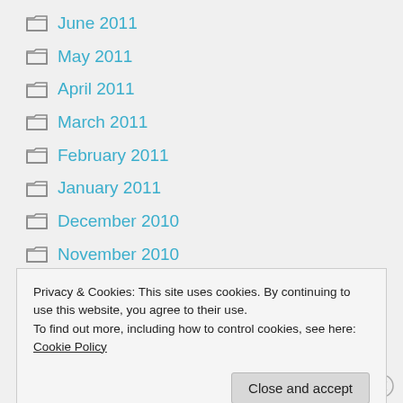June 2011
May 2011
April 2011
March 2011
February 2011
January 2011
December 2010
November 2010
October 2010
September 2010
Privacy & Cookies: This site uses cookies. By continuing to use this website, you agree to their use. To find out more, including how to control cookies, see here: Cookie Policy
February 2010